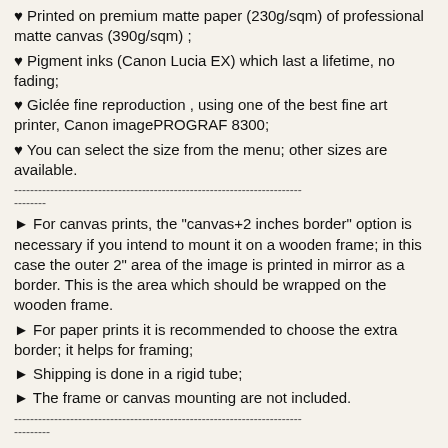♥ Printed on premium matte paper (230g/sqm) of professional matte canvas (390g/sqm) ;
♥ Pigment inks (Canon Lucia EX) which last a lifetime, no fading;
♥ Giclée fine reproduction , using one of the best fine art printer, Canon imagePROGRAF 8300;
♥ You can select the size from the menu; other sizes are available.
------------------------------------------------------------------------
--------
► For canvas prints, the "canvas+2 inches border" option is necessary if you intend to mount it on a wooden frame; in this case the outer 2" area of the image is printed in mirror as a border. This is the area which should be wrapped on the wooden frame.
► For paper prints it is recommended to choose the extra border; it helps for framing;
► Shipping is done in a rigid tube;
► The frame or canvas mounting are not included.
------------------------------------------------------------------------
---------